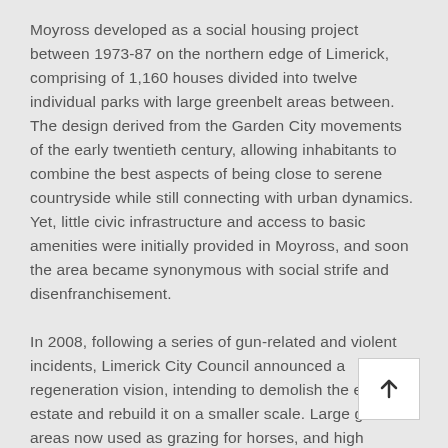Moyross developed as a social housing project between 1973-87 on the northern edge of Limerick, comprising of 1,160 houses divided into twelve individual parks with large greenbelt areas between. The design derived from the Garden City movements of the early twentieth century, allowing inhabitants to combine the best aspects of being close to serene countryside while still connecting with urban dynamics. Yet, little civic infrastructure and access to basic amenities were initially provided in Moyross, and soon the area became synonymous with social strife and disenfranchisement.
In 2008, following a series of gun-related and violent incidents, Limerick City Council announced a regeneration vision, intending to demolish the entire estate and rebuild it on a smaller scale. Large green areas now used as grazing for horses, and high partition walls between each housing estate would disappear – features that the City Council consider partially responsible for the socially subjugated character of the area. President Mary McAleese arrived to help unveil the proposed